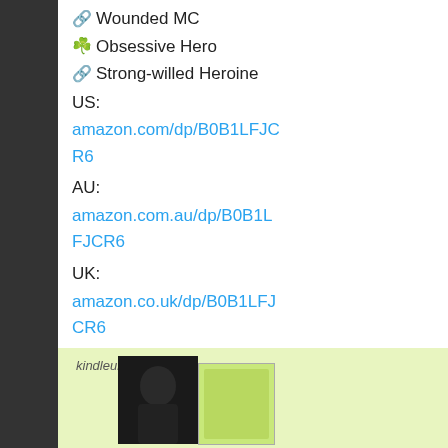🔗 Wounded MC
☘️ Obsessive Hero
🔗 Strong-willed Heroine
US:
amazon.com/dp/B0B1LFJCR6
AU:
amazon.com.au/dp/B0B1LFJCR6
UK:
amazon.co.uk/dp/B0B1LFJCR6
CA:
amazon.ca/dp/B0B1LFJCR6
@MagicPenTours
#MacTireMafia
#mafiaromance
#darkromance
[Figure (photo): Book promotion image with Kindle Unlimited branding, showing a dark photo of a man's face and a green book cover]